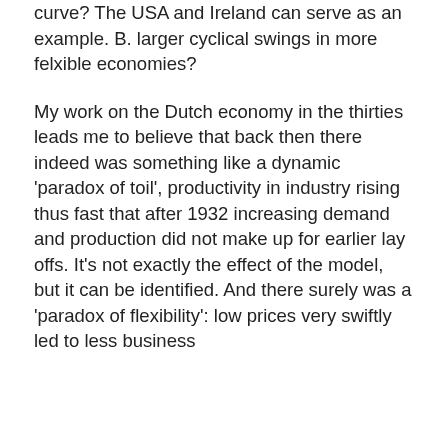curve? The USA and Ireland can serve as an example. B. larger cyclical swings in more felxible economies?
My work on the Dutch economy in the thirties leads me to believe that back then there indeed was something like a dynamic 'paradox of toil', productivity in industry rising thus fast that after 1932 increasing demand and production did not make up for earlier lay offs. It's not exactly the effect of the model, but it can be identified. And there surely was a 'paradox of flexibility': low prices very swiftly led to less business